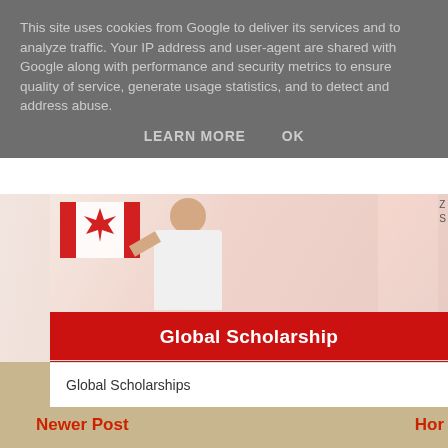This site uses cookies from Google to deliver its services and to analyze traffic. Your IP address and user-agent are shared with Google along with performance and security metrics to ensure quality of service, generate usage statistics, and to detect and address abuse.
LEARN MORE    OK
[Figure (photo): Person holding a Canadian flag with a red banner overlay reading 'Global Scholarship']
Global Scholarships
Newer Post
Hor
Subscribe to: Post Comments (Atom)
Most common Czech surnames